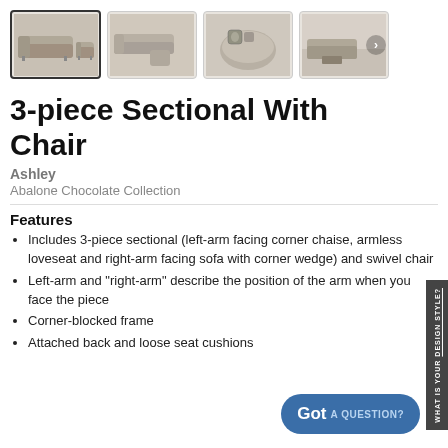[Figure (photo): Product thumbnail gallery showing 4 images: selected first image showing 3-piece sectional with chair set, second image of sectional sofa, third image of round swivel chair with patterned pillows, fourth image of sectional in room setting.]
3-piece Sectional With Chair
Ashley
Abalone Chocolate Collection
Features
Includes 3-piece sectional (left-arm facing corner chaise, armless loveseat and right-arm facing sofa with corner wedge) and swivel chair
Left-arm and "right-arm" describe the position of the arm when you face the piece
Corner-blocked frame
Attached back and loose seat cushions